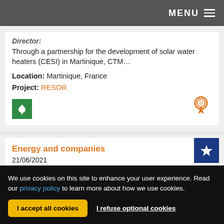MENU
Through a partnership for the development of solar water heaters (CESI) in Martinique, CTM...
Location: Martinique, France
Project: RESOR
Energy and companies
21/06/2021
Individual support to companies for their energy transition
We use cookies on this site to enhance your user experience. Read our privacy policy to learn more about how we use cookies.
I accept all cookies
I refuse optional cookies